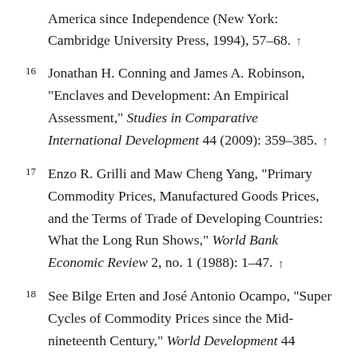America since Independence (New York: Cambridge University Press, 1994), 57–68. ↑
16 Jonathan H. Conning and James A. Robinson, "Enclaves and Development: An Empirical Assessment," Studies in Comparative International Development 44 (2009): 359–385. ↑
17 Enzo R. Grilli and Maw Cheng Yang, "Primary Commodity Prices, Manufactured Goods Prices, and the Terms of Trade of Developing Countries: What the Long Run Shows," World Bank Economic Review 2, no. 1 (1988): 1–47. ↑
18 See Bilge Erten and José Antonio Ocampo, "Super Cycles of Commodity Prices since the Mid-nineteenth Century," World Development 44 (2013): 14–30; and